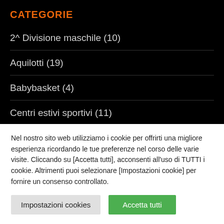CATEGORIE
2^ Divisione maschile (10)
Aquilotti (19)
Babybasket (4)
Centri estivi sportivi (11)
Esordienti (10)
Nel nostro sito web utilizziamo i cookie per offrirti una migliore esperienza ricordando le tue preferenze nel corso delle varie visite. Cliccando su [Accetta tutti], acconsenti all'uso di TUTTI i cookie. Altrimenti puoi selezionare [Impostazioni cookie] per fornire un consenso controllato.
Impostazioni cookies
Accetta tutti